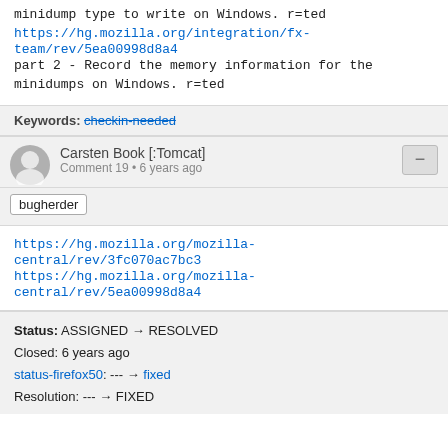minidump type to write on Windows. r=ted
https://hg.mozilla.org/integration/fx-team/rev/5ea00998d8a4
part 2 - Record the memory information for the minidumps on Windows. r=ted
Keywords: checkin-needed
Carsten Book [:Tomcat]
Comment 19 • 6 years ago
bugherder
https://hg.mozilla.org/mozilla-central/rev/3fc070ac7bc3
https://hg.mozilla.org/mozilla-central/rev/5ea00998d8a4
Status: ASSIGNED → RESOLVED
Closed: 6 years ago
status-firefox50: --- → fixed
Resolution: --- → FIXED